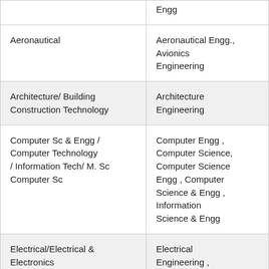|  | Engg |
| Aeronautical | Aeronautical Engg., Avionics Engineering |
| Architecture/ Building Construction Technology | Architecture Engineering |
| Computer Sc & Engg / Computer Technology / Information Tech/ M. Sc Computer Sc | Computer Engg , Computer Science, Computer Science Engg , Computer Science & Engg , Information Science & Engg |
| Electrical/Electrical & Electronics | Electrical Engineering , |